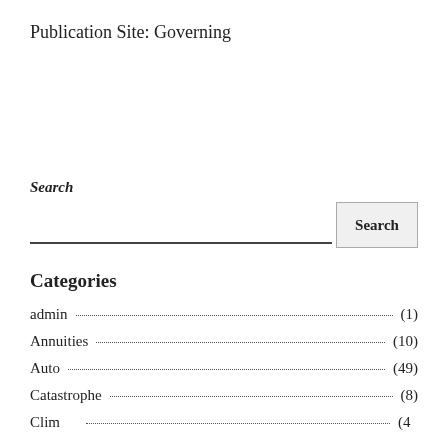Publication Site: Governing
Search
admin (1)
Annuities (10)
Auto (49)
Catastrophe (8)
Climate (48)